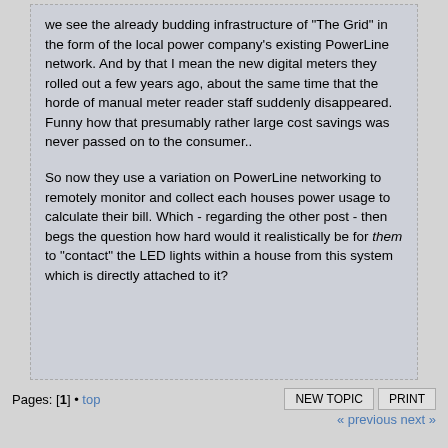we see the already budding infrastructure of "The Grid" in the form of the local power company's existing PowerLine network. And by that I mean the new digital meters they rolled out a few years ago, about the same time that the horde of manual meter reader staff suddenly disappeared. Funny how that presumably rather large cost savings was never passed on to the consumer..
So now they use a variation on PowerLine networking to remotely monitor and collect each houses power usage to calculate their bill. Which - regarding the other post - then begs the question how hard would it realistically be for them to "contact" the LED lights within a house from this system which is directly attached to it?
Pages: [1] • top   NEW TOPIC   PRINT   « previous next »